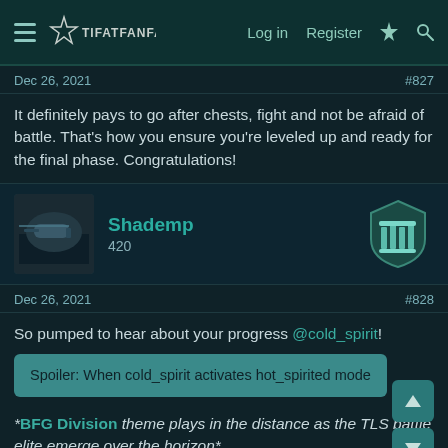Log in   Register
Dec 26, 2021   #827
It definitely pays to go after chests, fight and not be afraid of battle. That's how you ensure you're leveled up and ready for the final phase. Congratulations!
Shademp
420
Dec 26, 2021   #828
So pumped to hear about your progress @cold_spirit!
Spoiler: When cold_spirit activates hot_spirited mode
*BFG Division theme plays in the distance as the TLS battle elite emerge over the horizon*